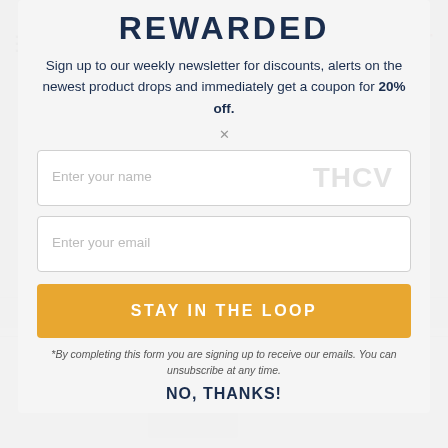REWARDED
Sign up to our weekly newsletter for discounts, alerts on the newest product drops and immediately get a coupon for 20% off.
Enter your name
Enter your email
STAY IN THE LOOP
*By completing this form you are signing up to receive our emails. You can unsubscribe at any time.
NO, THANKS!